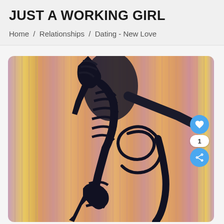JUST A WORKING GIRL
Home / Relationships / Dating - New Love
[Figure (photo): Photo of a person's legs wearing black strappy high heels against a colorful striped pink/gold background, with a like button (heart icon, count of 1) and share button overlaid on the right side.]